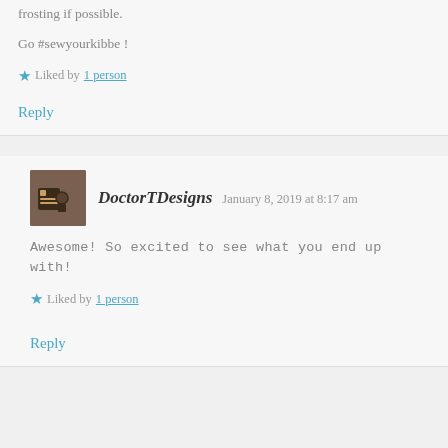frosting if possible.
Go #sewyourkibbe !
Liked by 1 person
Reply
DoctorTDesigns  January 8, 2019 at 8:17 am
Awesome! So excited to see what you end up with!
Liked by 1 person
Reply